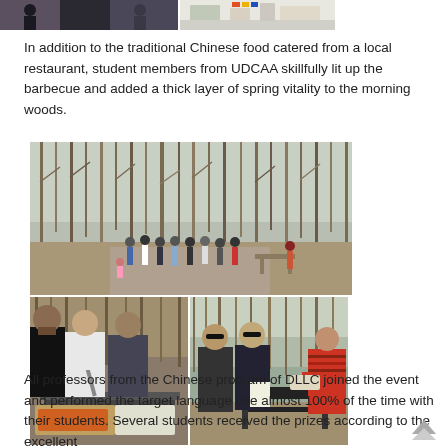[Figure (photo): Partial top-of-page photos showing people at an outdoor event, cropped at top]
In addition to the traditional Chinese food catered from a local restaurant, student members from UDCAA skillfully lit up the barbecue and added a thick layer of spring vitality to the morning woods.
[Figure (photo): Three photos: top shows group of people standing in wooded area with bare trees; bottom-left shows students cooking food at a grill with trays of food; bottom-right shows two students standing next to a barbecue grill in a wooded area]
All professors from the Chinese program of DLLC joined the event and performed the target language use almost 100% of the time with their students. Several students received the prizes according to the excellent